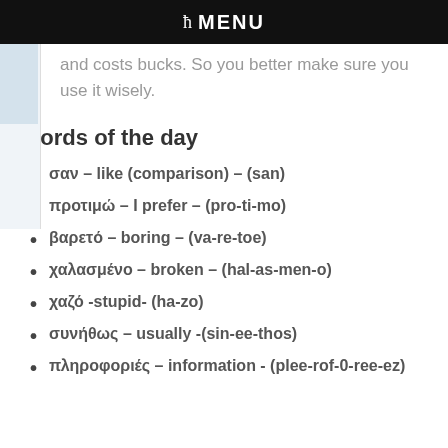ħ MENU
and costs bucks. So you better make sure you use it wisely.
Words of the day
σαν – like (comparison) – (san)
προτιμώ – I prefer – (pro-ti-mo)
βαρετό – boring – (va-re-toe)
χαλασμένο – broken – (hal-as-men-o)
χαζό -stupid- (ha-zo)
συνήθως – usually -(sin-ee-thos)
πληροφοριές – information - (plee-rof-0-ree-ez)